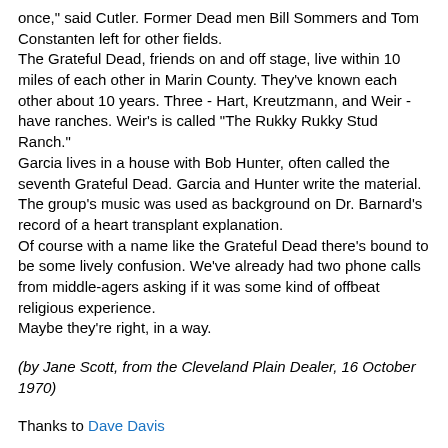once," said Cutler. Former Dead men Bill Sommers and Tom Constanten left for other fields.
The Grateful Dead, friends on and off stage, live within 10 miles of each other in Marin County. They've known each other about 10 years. Three - Hart, Kreutzmann, and Weir - have ranches. Weir's is called "The Rukky Rukky Stud Ranch."
Garcia lives in a house with Bob Hunter, often called the seventh Grateful Dead. Garcia and Hunter write the material.
The group's music was used as background on Dr. Barnard's record of a heart transplant explanation.
Of course with a name like the Grateful Dead there's bound to be some lively confusion. We've already had two phone calls from middle-agers asking if it was some kind of offbeat religious experience.
Maybe they're right, in a way.
(by Jane Scott, from the Cleveland Plain Dealer, 16 October 1970)
Thanks to Dave Davis